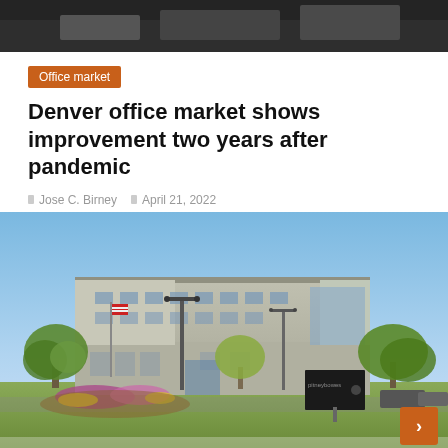[Figure (photo): Partial top portion of a dark/gray image, likely the previous article or header photo]
Office market
Denver office market shows improvement two years after pandemic
Jose C. Birney   April 21, 2022
[Figure (photo): Exterior photograph of a gray multi-story office building with an American flag, street lamps, trees, flowering shrubs, a company sign (Pitney Bowes), and a parking lot with cars on a clear spring day]